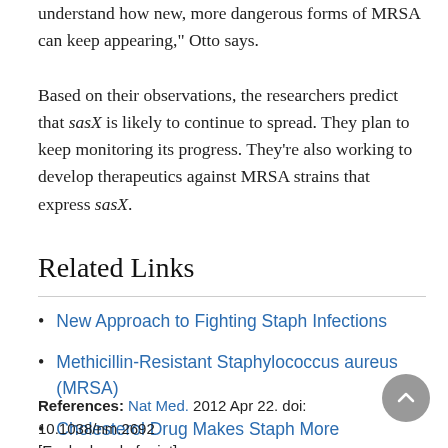understand how new, more dangerous forms of MRSA can keep appearing," Otto says.
Based on their observations, the researchers predict that sasX is likely to continue to spread. They plan to keep monitoring its progress. They're also working to develop therapeutics against MRSA strains that express sasX.
Related Links
New Approach to Fighting Staph Infections
Methicillin-Resistant Staphylococcus aureus (MRSA)
Cholesterol Drug Makes Staph More Vulnerable
References: Nat Med. 2012 Apr 22. doi: 10.1038/nm.2692 [Epub ahead of print]